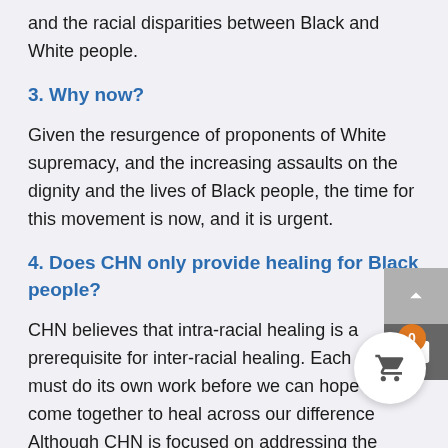and the racial disparities between Black and White people.
3. Why now?
Given the resurgence of proponents of White supremacy, and the increasing assaults on the dignity and the lives of Black people, the time for this movement is now, and it is urgent.
4. Does CHN only provide healing for Black people?
CHN believes that intra-racial healing is a prerequisite for inter-racial healing. Each group must do its own work before we can hope to come together to heal across our differences. Although CHN is focused on addressing the needs of Black people of African ancestry,